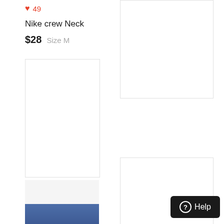♥ 49
Nike crew Neck
$28  Size M
[Figure (photo): Empty white product image placeholder, left main]
[Figure (photo): Empty white product image placeholder, right top]
[Figure (photo): Partial product photo with blue item visible at bottom]
[Figure (photo): Empty white product image placeholder, right bottom]
Help